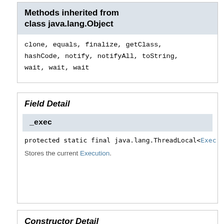Methods inherited from class java.lang.Object
clone, equals, finalize, getClass, hashCode, notify, notifyAll, toString, wait, wait, wait
Field Detail
_exec
protected static final java.lang.ThreadLocal<Exec
Stores the current Execution.
Constructor Detail
Executions